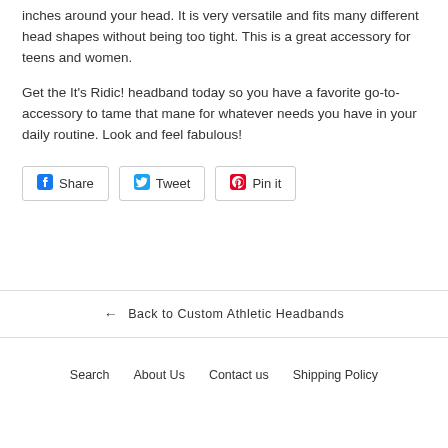inches around your head. It is very versatile and fits many different head shapes without being too tight. This is a great accessory for teens and women.
Get the It's Ridic! headband today so you have a favorite go-to-accessory to tame that mane for whatever needs you have in your daily routine. Look and feel fabulous!
[Figure (other): Social share buttons: Facebook Share, Twitter Tweet, Pinterest Pin it]
← Back to Custom Athletic Headbands
Search   About Us   Contact us   Shipping Policy